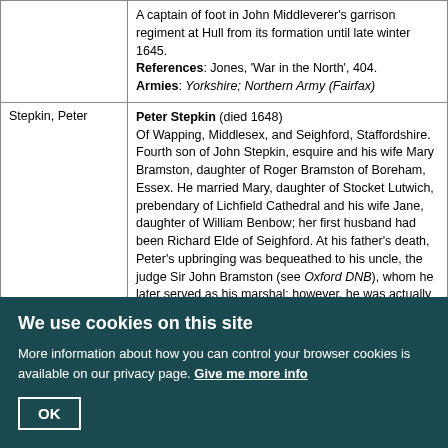| Name | Description |
| --- | --- |
|  | A captain of foot in John Middleverer's garrison regiment at Hull from its formation until late winter 1645.
References: Jones, 'War in the North', 404.
Armies: Yorkshire; Northern Army (Fairfax) |
| Stepkin, Peter | Peter Stepkin (died 1648)
Of Wapping, Middlesex, and Seighford, Staffordshire. Fourth son of John Stepkin, esquire and his wife Mary Bramston, daughter of Roger Bramston of Boreham, Essex. He married Mary, daughter of Stocket Lutwich, prebendary of Lichfield Cathedral and his wife Jane, daughter of William Benbow; her first husband had been Richard Elde of Seighford. At his father's death, Peter's upbringing was bequeathed to his uncle, the judge Sir John Bramston (see Oxford DNB), whom he later served as his marshal; however, he was actually raised by Sir John's mother-in-law Mary Moundeford in London.
With the coming of war, Stepkin was arrested carrying |
We use cookies on this site
More information about how you can control your browser cookies is available on our privacy page. Give me more info
OK